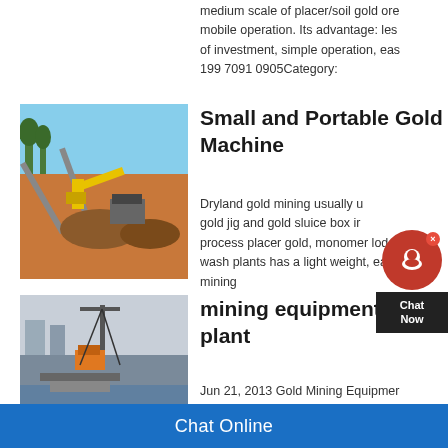medium scale of placer/soil gold ore mobile operation. Its advantage: les of investment, simple operation, eas 199 7091 0905Category:
[Figure (photo): Mining site with conveyor belts, excavator, and ore piles]
Small and Portable Gold Machine
Dryland gold mining usually u gold jig and gold sluice box ir process placer gold, monomer lode wash plants has a light weight, easy mining
[Figure (photo): Mining plant with crane and equipment near water]
mining equipment for sa plant
Jun 21, 2013 Gold Mining Equipmer Plant High Quality Equipment With
Chat Online